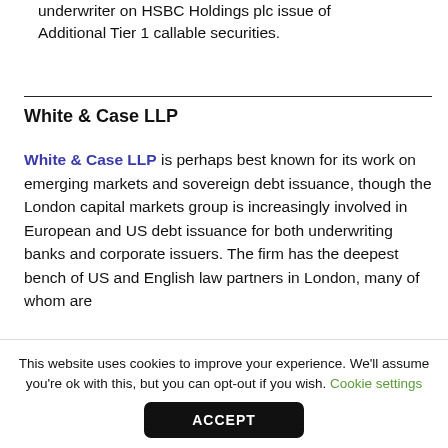underwriter on HSBC Holdings plc issue of Additional Tier 1 callable securities.
White & Case LLP
White & Case LLP is perhaps best known for its work on emerging markets and sovereign debt issuance, though the London capital markets group is increasingly involved in European and US debt issuance for both underwriting banks and corporate issuers. The firm has the deepest bench of US and English law partners in London, many of whom are
This website uses cookies to improve your experience. We'll assume you're ok with this, but you can opt-out if you wish. Cookie settings
ACCEPT